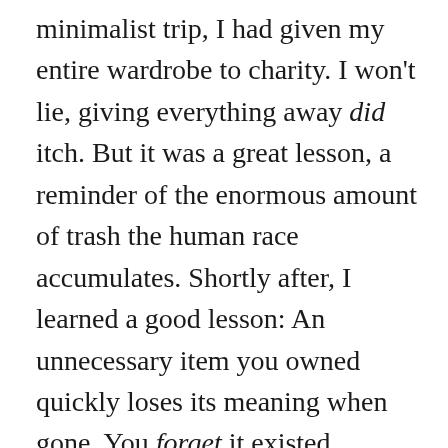minimalist trip, I had given my entire wardrobe to charity. I won't lie, giving everything away did itch. But it was a great lesson, a reminder of the enormous amount of trash the human race accumulates. Shortly after, I learned a good lesson: An unnecessary item you owned quickly loses its meaning when gone. You forget it existed. Leaving all those physical burdens behind means you'll be more focused on your trips, on life itself.